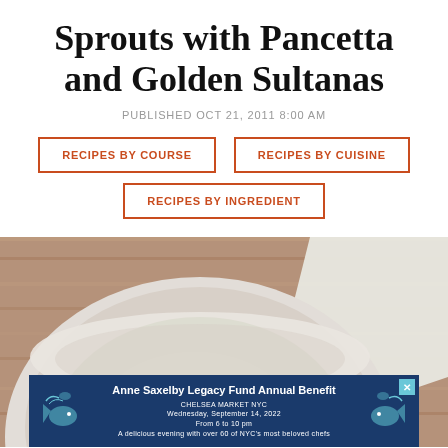Sprouts with Pancetta and Golden Sultanas
PUBLISHED OCT 21, 2011 8:00 AM
RECIPES BY COURSE
RECIPES BY CUISINE
RECIPES BY INGREDIENT
[Figure (photo): Bowl of shredded Brussels sprouts with pancetta and golden sultanas on a wooden surface with a white napkin]
[Figure (infographic): Advertisement banner for Anne Saxelby Legacy Fund Annual Benefit at Chelsea Market NYC, Wednesday September 14 2022, From 6 to 10 pm, A delicious evening with over 60 of NYC's most beloved chefs]